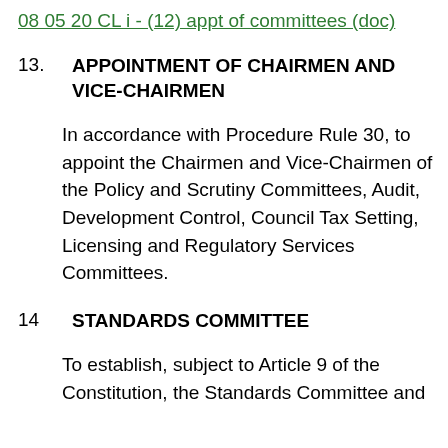08 05 20 CL i - (12) appt of committees (doc)
13.  APPOINTMENT OF CHAIRMEN AND VICE-CHAIRMEN
In accordance with Procedure Rule 30, to appoint the Chairmen and Vice-Chairmen of the Policy and Scrutiny Committees, Audit, Development Control, Council Tax Setting, Licensing and Regulatory Services Committees.
14.  STANDARDS COMMITTEE
To establish, subject to Article 9 of the Constitution, the Standards Committee and